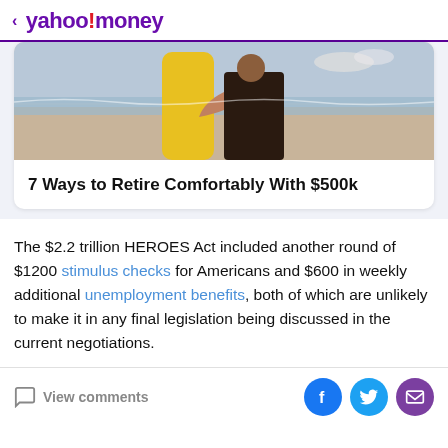< yahoo!money
[Figure (photo): Beach scene with a person and a yellow surfboard, ocean in background]
7 Ways to Retire Comfortably With $500k
The $2.2 trillion HEROES Act included another round of $1200 stimulus checks for Americans and $600 in weekly additional unemployment benefits, both of which are unlikely to make it in any final legislation being discussed in the current negotiations.
View comments